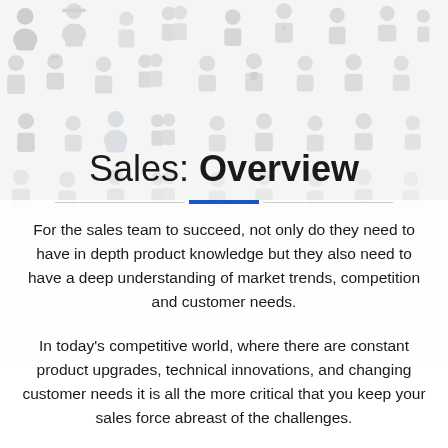[Figure (illustration): Tiled background pattern of light gray illustrated silhouette icons of people (business figures, professionals, groups), filling the top portion and fading toward white at the bottom.]
Sales: Overview
For the sales team to succeed, not only do they need to have in depth product knowledge but they also need to have a deep understanding of market trends, competition and customer needs.
In today's competitive world, where there are constant product upgrades, technical innovations, and changing customer needs it is all the more critical that you keep your sales force abreast of the challenges.
Product training for sales has to address these issues to